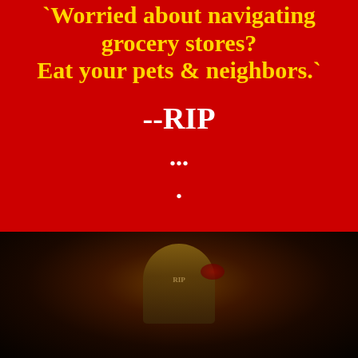`Worried about navigating grocery stores?
Eat your pets & neighbors.`
--RIP
...
.
[Figure (photo): Dark photograph of what appears to be a gravestone or skull-like object with golden/brown tones and a red element, set against a very dark background]